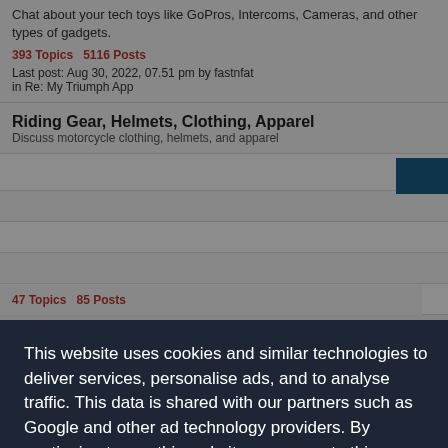Chat about your tech toys like GoPros, Intercoms, Cameras, and other types of gadgets.
393 Topics   5116 Posts
Last post: Aug 30, 2022, 07.51 pm by fastnfat
in Re: My Triumph App
Riding Gear, Helmets, Clothing, Apparel
Discuss motorcycle clothing, helmets, and apparel
This website uses cookies and similar technologies to deliver services, personalise ads, and to analyse traffic. This data is shared with our partners such as Google and other ad technology providers. By continuing to use this website you agree to this.
View our Privacy and Cookie Policy
I Agree
47 Topics   85 Posts